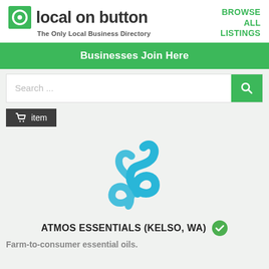[Figure (logo): Local on Button logo with green circle icon and site name]
BROWSE ALL LISTINGS
The Only Local Business Directory
Businesses Join Here
Search ...
item
[Figure (logo): Atmos Essentials swirling blue wave/smoke logo]
ATMOS ESSENTIALS (KELSO, WA)
Farm-to-consumer essential oils.